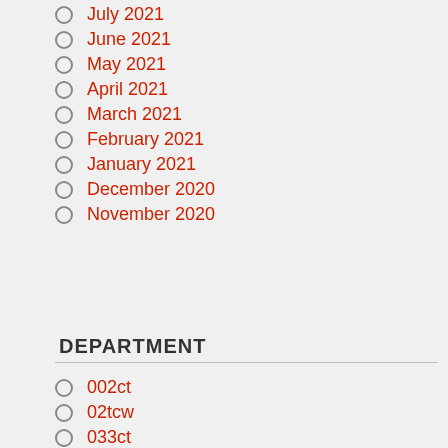July 2021
June 2021
May 2021
April 2021
March 2021
February 2021
January 2021
December 2020
November 2020
DEPARTMENT
002ct
02tcw
033ct
065ct